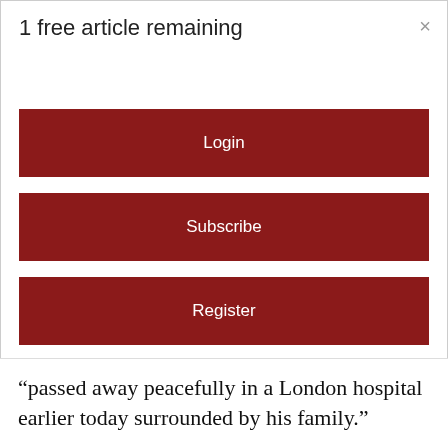1 free article remaining
×
Login
Subscribe
Register
For seven additional free articles please register on the site. By registering you'll be opting in to receive our email newsletter and occasion promotions. You may opt out at any time.
“passed away peacefully in a London hospital earlier today surrounded by his family.”